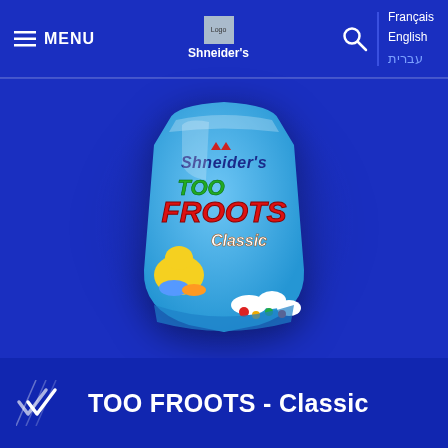MENU | Logo Shneider's | Search | Français English עברית
[Figure (photo): Blue bag of Shneider's TOO FROOTS Classic candy, featuring colorful cartoon fruit characters on a light blue package, with gummy candies visible at the bottom]
TOO FROOTS - Classic